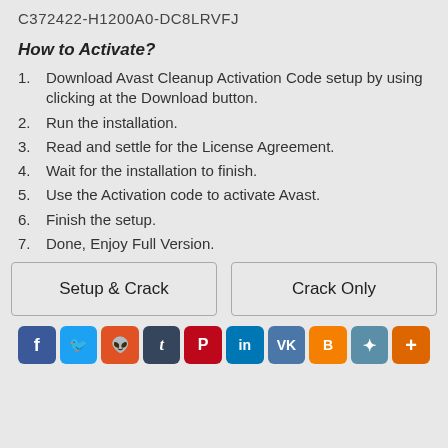C372422-H1200A0-DC8LRVFJ
How to Activate?
1. Download Avast Cleanup Activation Code setup by using clicking at the Download button.
2. Run the installation.
3. Read and settle for the License Agreement.
4. Wait for the installation to finish.
5. Use the Activation code to activate Avast.
6. Finish the setup.
7. Done, Enjoy Full Version.
[Figure (other): Two download buttons: Setup & Crack and Crack Only]
[Figure (other): Social media sharing icons: Facebook, Twitter, Reddit, Tumblr, Pinterest, LinkedIn, VK, Blogger, settings/other, plus]